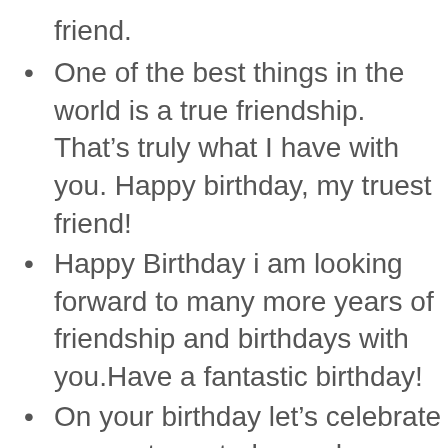friend.
One of the best things in the world is a true friendship. That’s truly what I have with you. Happy birthday, my truest friend!
Happy Birthday i am looking forward to many more years of friendship and birthdays with you.Have a fantastic birthday!
On your birthday let’s celebrate our past, our today and our future! I love my life with you
Happy birthday to my true friend who was always there for me through all ups and downs. Today is your Big Day, so let the celebration begin!
Awesome friends are awesome for